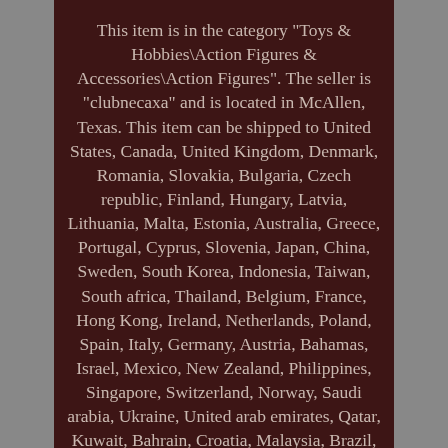This item is in the category "Toys & Hobbies\Action Figures & Accessories\Action Figures". The seller is "clubnecaxa" and is located in McAllen, Texas. This item can be shipped to United States, Canada, United Kingdom, Denmark, Romania, Slovakia, Bulgaria, Czech republic, Finland, Hungary, Latvia, Lithuania, Malta, Estonia, Australia, Greece, Portugal, Cyprus, Slovenia, Japan, China, Sweden, South Korea, Indonesia, Taiwan, South africa, Thailand, Belgium, France, Hong Kong, Ireland, Netherlands, Poland, Spain, Italy, Germany, Austria, Bahamas, Israel, Mexico, New Zealand, Philippines, Singapore, Switzerland, Norway, Saudi arabia, Ukraine, United arab emirates, Qatar, Kuwait, Bahrain, Croatia, Malaysia, Brazil, Chile, Colombia, Costa rica, Dominican republic, Panama, Trinidad and tobago, Guatemala, El salvador, Honduras, Jamaica, Antigua and barbuda, Aruba, Belize, Dominica, Grenada, Saint kitts and nevis, Saint